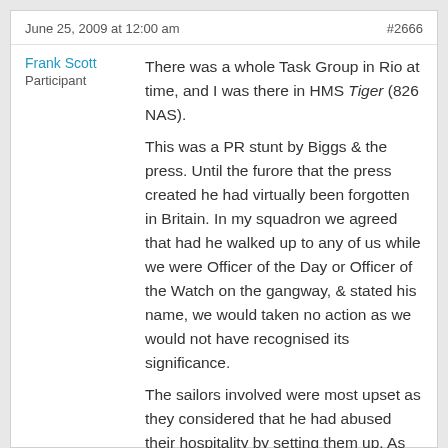June 25, 2009 at 12:00 am    #2666
Frank Scott
Participant
There was a whole Task Group in Rio at time, and I was there in HMS Tiger (826 NAS).
This was a PR stunt by Biggs & the press. Until the furore that the press created he had virtually been forgotten in Britain. In my squadron we agreed that had he walked up to any of us while we were Officer of the Day or Officer of the Watch on the gangway, & stated his name, we would taken no action as we would not have recognised its significance.
The sailors involved were most upset as they considered that he had abused their hospitality by setting them up. As